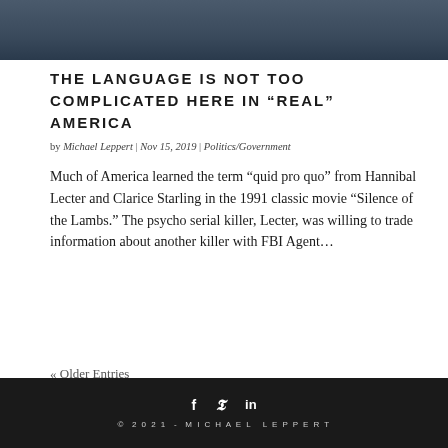[Figure (photo): Dark photo of a person at the top of the page, partially cropped]
THE LANGUAGE IS NOT TOO COMPLICATED HERE IN “REAL” AMERICA
by Michael Leppert | Nov 15, 2019 | Politics/Government
Much of America learned the term “quid pro quo” from Hannibal Lecter and Clarice Starling in the 1991 classic movie “Silence of the Lambs.” The psycho serial killer, Lecter, was willing to trade information about another killer with FBI Agent…
« Older Entries
© 2021 - MICHAEL LEPPERT